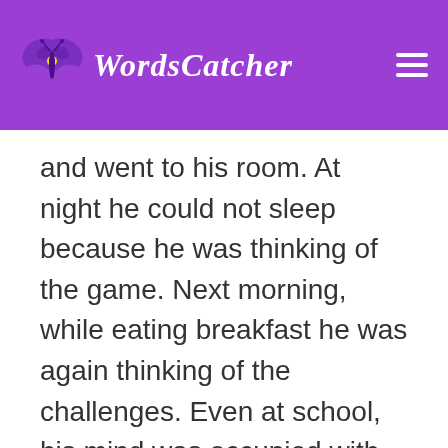WordsCatcher
and went to his room. At night he could not sleep because he was thinking of the game. Next morning, while eating breakfast he was again thinking of the challenges. Even at school, his mind was occupied with the game characters and graphics. He was thinking of the game day and night. He left playing with his friends. He was hardly taking his meals on time. He was ignoring his health and studies. Once he starts playing it was hard for